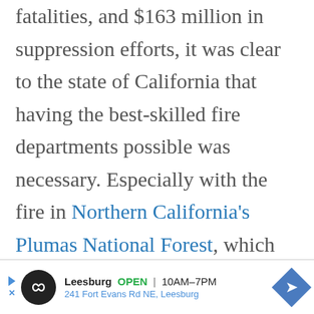fatalities, and $163 million in suppression efforts, it was clear to the state of California that having the best-skilled fire departments possible was necessary. Especially with the fire in Northern California's Plumas National Forest, which had destroyed almost 44,000 acres by early September.
[Figure (other): Advertisement banner for Leesburg business: logo with infinity symbol, 'Leesburg OPEN 10AM-7PM', '241 Fort Evans Rd NE, Leesburg', navigation arrow icon]